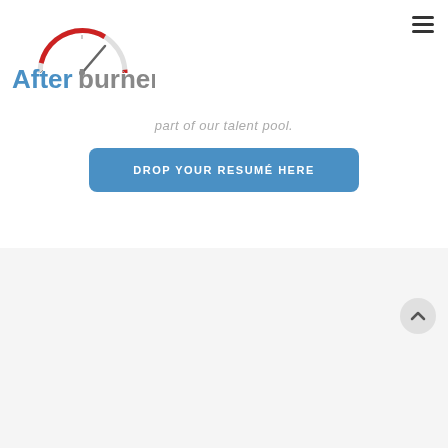[Figure (logo): Afterburner logo with speedometer gauge graphic in red and gray, text 'Afterburner' in blue and gray]
[Figure (other): Hamburger menu icon (three horizontal lines) in top right corner]
part of our talent pool.
DROP YOUR RESUMÉ HERE
Similar Openings
INTERN